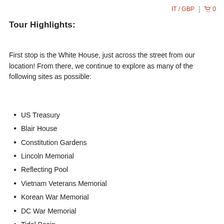IT / GBP | 🛒 0
Tour Highlights:
First stop is the White House, just across the street from our location! From there, we continue to explore as many of the following sites as possible:
US Treasury
Blair House
Constitution Gardens
Lincoln Memorial
Reflecting Pool
Vietnam Veterans Memorial
Korean War Memorial
DC War Memorial
Tidal Basin